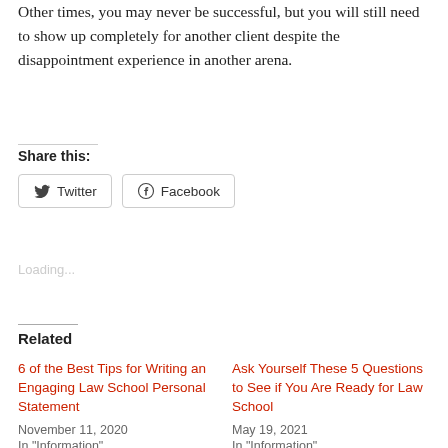Other times, you may never be successful, but you will still need to show up completely for another client despite the disappointment experience in another arena.
Share this:
Loading...
Related
6 of the Best Tips for Writing an Engaging Law School Personal Statement
November 11, 2020
In "Information"
Ask Yourself These 5 Questions to See if You Are Ready for Law School
May 19, 2021
In "Information"